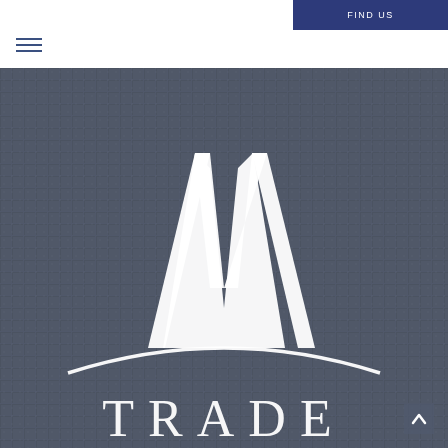[Figure (logo): M Trade company logo — white stylized letter M with two tall spires and a curved arc beneath, above the word TRADE in white serif capitals, on a dark gray textured grid background]